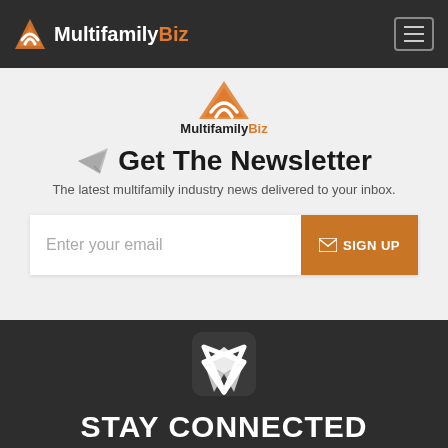MultifamilyBiz navigation bar
[Figure (logo): MultifamilyBiz logo with orange and white icon and text in the navigation bar]
[Figure (logo): MultifamilyBiz logo centered above newsletter headline]
Get The Newsletter
The latest multifamily industry news delivered to your inbox.
Enter your email  SIGN UP
[Figure (logo): MultifamilyBiz large white icon on dark background footer]
STAY CONNECTED